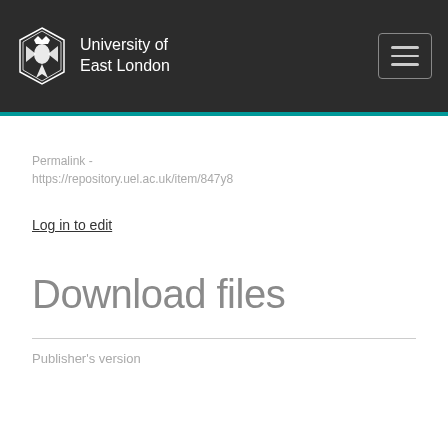University of East London
Permalink -
https://repository.uel.ac.uk/item/847y8
Log in to edit
Download files
Publisher's version